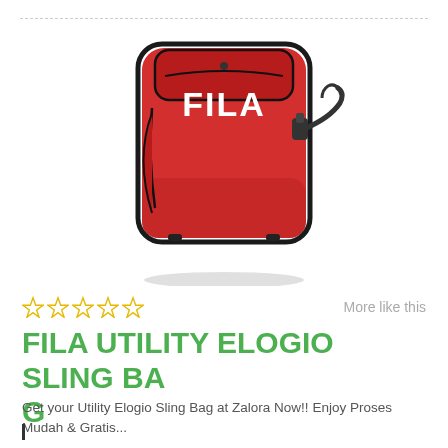[Figure (photo): Red FILA Utility Elogio Sling Bag with black zipper details and shoulder strap, white FILA logo on front]
☆☆☆☆☆
More like this
FILA UTILITY ELOGIO SLING BAG
Get your Utility Elogio Sling Bag at Zalora Now!! Enjoy Proses Mudah & Gratis...